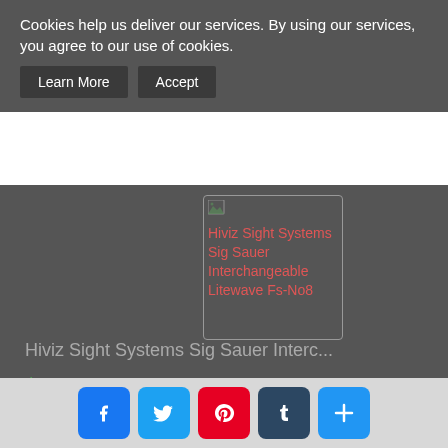Cookies help us deliver our services. By using our services, you agree to our use of cookies.
Learn More
Accept
[Figure (illustration): Broken image placeholder showing 'Hiviz Sight Systems Sig Sauer Interchangeable Litewave Fs-No8' alt text in red on grey background]
Hiviz Sight Systems Sig Sauer Interc...
$42.56
Buy it Now
New
28 Day(s) 18 h(s)
Worldwide
1 day
Easy Returns
Facebook Twitter Pinterest Tumblr Share